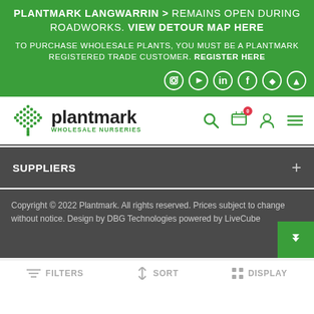PLANTMARK LANGWARRIN > REMAINS OPEN DURING ROADWORKS. VIEW DETOUR MAP HERE
TO PURCHASE WHOLESALE PLANTS, YOU MUST BE A PLANTMARK REGISTERED TRADE CUSTOMER. REGISTER HERE
[Figure (other): Social media icons: Instagram, YouTube, LinkedIn, Facebook, Apple, Android]
[Figure (logo): Plantmark Wholesale Nurseries logo with green polka-dot tree icon]
[Figure (other): Navigation icons: search, cart (with badge showing 0), account, menu]
SUPPLIERS
Copyright © 2022 Plantmark. All rights reserved. Prices subject to change without notice. Design by DBG Technologies powered by LiveCube
FILTERS  SORT  DISPLAY